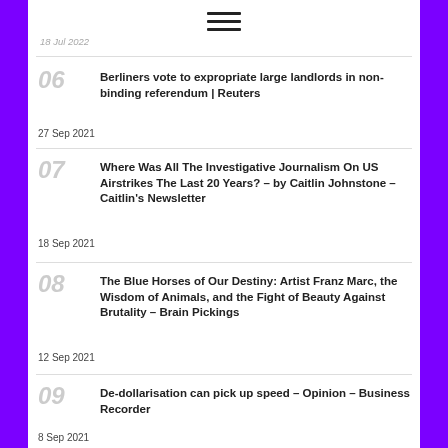18 Jul 2022
06 Berliners vote to expropriate large landlords in non-binding referendum | Reuters
27 Sep 2021
07 Where Was All The Investigative Journalism On US Airstrikes The Last 20 Years? – by Caitlin Johnstone – Caitlin's Newsletter
18 Sep 2021
08 The Blue Horses of Our Destiny: Artist Franz Marc, the Wisdom of Animals, and the Fight of Beauty Against Brutality – Brain Pickings
12 Sep 2021
09 De-dollarisation can pick up speed – Opinion – Business Recorder
8 Sep 2021